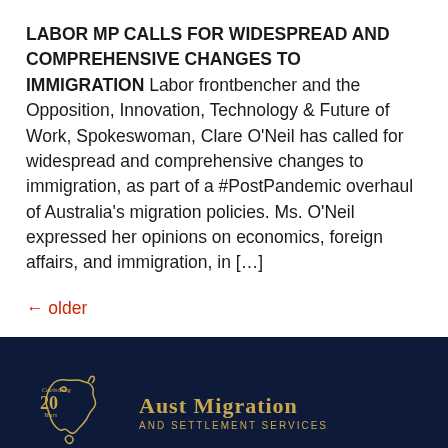LABOR MP CALLS FOR WIDESPREAD AND COMPREHENSIVE CHANGES TO IMMIGRATION Labor frontbencher and the Opposition, Innovation, Technology & Future of Work, Spokeswoman, Clare O'Neil has called for widespread and comprehensive changes to immigration, as part of a #PostPandemic overhaul of Australia's migration policies. Ms. O'Neil expressed her opinions on economics, foreign affairs, and immigration, in […]
← older
[Figure (logo): Aust Migration and Settlement Services logo — outline of Australia in gold with '20 Years Celebrating' text, beside the company name in gold serif font on dark navy background]
+ 619 965 4 9011